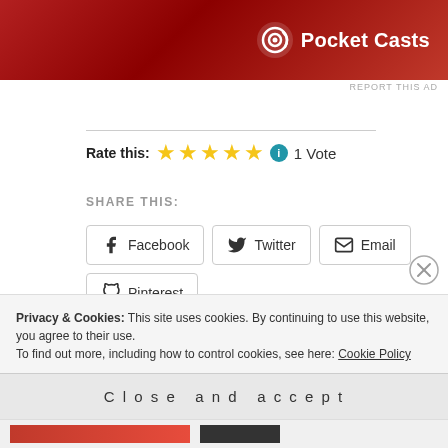[Figure (screenshot): Pocket Casts advertisement banner with red gradient background and white Pocket Casts logo and text]
REPORT THIS AD
Rate this: ★★★★★ ⓘ 1 Vote
SHARE THIS:
Facebook  Twitter  Email  Pinterest
LinkedIn
Loading...
Privacy & Cookies: This site uses cookies. By continuing to use this website, you agree to their use. To find out more, including how to control cookies, see here: Cookie Policy
Close and accept